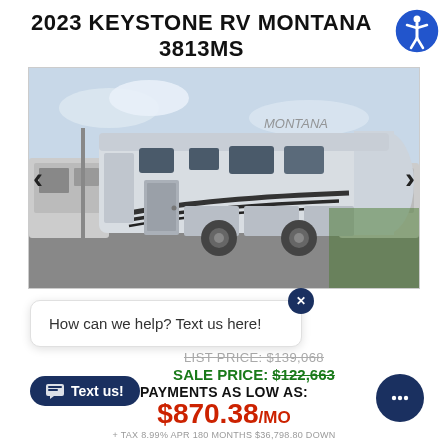2023 KEYSTONE RV MONTANA 3813MS
[Figure (photo): 2023 Keystone RV Montana 3813MS fifth-wheel RV shown in a dealer lot, silver/grey exterior with dark accent stripes, photographed from the side/front angle. Navigation arrows on left and right sides.]
How can we help? Text us here!
LIST PRICE: $139,068
SALE PRICE: $122,663
PAYMENTS AS LOW AS:
$870.38/MO
+ TAX 8.99% APR 180 MONTHS $36,798.80 DOWN